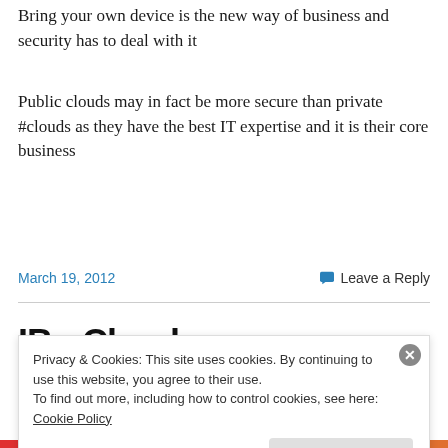Bring your own device is the new way of business and security has to deal with it
Public clouds may in fact be more secure than private #clouds as they have the best IT expertise and it is their core business
March 19, 2012
Leave a Reply
IBo Cl...
Privacy & Cookies: This site uses cookies. By continuing to use this website, you agree to their use.
To find out more, including how to control cookies, see here: Cookie Policy
Close and accept